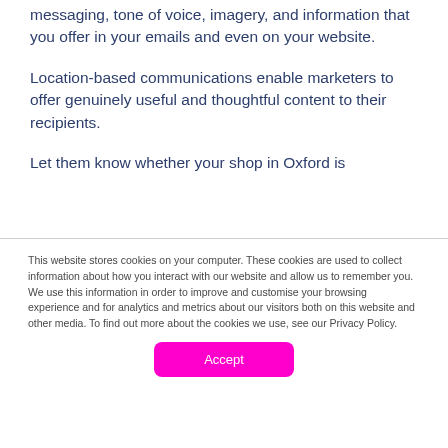messaging, tone of voice, imagery, and information that you offer in your emails and even on your website.
Location-based communications enable marketers to offer genuinely useful and thoughtful content to their recipients.
Let them know whether your shop in Oxford is
This website stores cookies on your computer. These cookies are used to collect information about how you interact with our website and allow us to remember you. We use this information in order to improve and customise your browsing experience and for analytics and metrics about our visitors both on this website and other media. To find out more about the cookies we use, see our Privacy Policy.